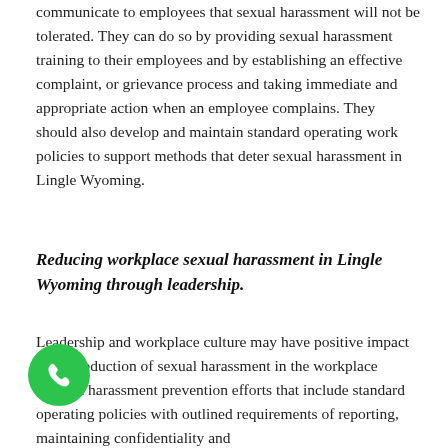communicate to employees that sexual harassment will not be tolerated. They can do so by providing sexual harassment training to their employees and by establishing an effective complaint, or grievance process and taking immediate and appropriate action when an employee complains. They should also develop and maintain standard operating work policies to support methods that deter sexual harassment in Lingle Wyoming.
Reducing workplace sexual harassment in Lingle Wyoming through leadership.
Leadership and workplace culture may have positive impact on the reduction of sexual harassment in the workplace through harassment prevention efforts that include standard operating policies with outlined requirements of reporting, maintaining confidentiality and